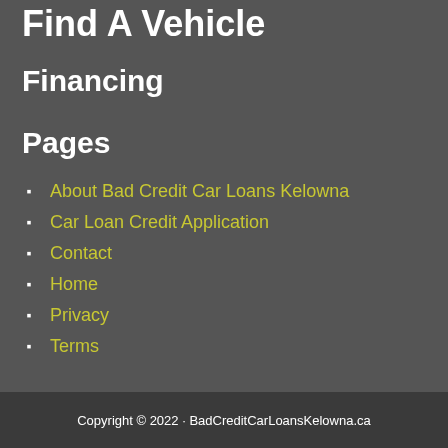Find A Vehicle
Financing
Pages
About Bad Credit Car Loans Kelowna
Car Loan Credit Application
Contact
Home
Privacy
Terms
Copyright © 2022 · BadCreditCarLoansKelowna.ca